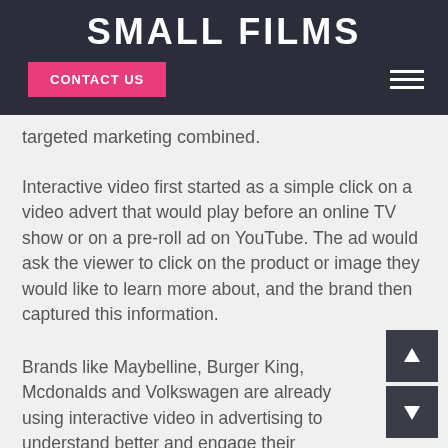SMALL FILMS
CONTACT US
targeted marketing combined.
Interactive video first started as a simple click on a video advert that would play before an online TV show or on a pre-roll ad on YouTube. The ad would ask the viewer to click on the product or image they would like to learn more about, and the brand then captured this information.
Brands like Maybelline, Burger King, Mcdonalds and Volkswagen are already using interactive video in advertising to understand better and engage their customers. But there should be a lot more brands using especially in 2020.